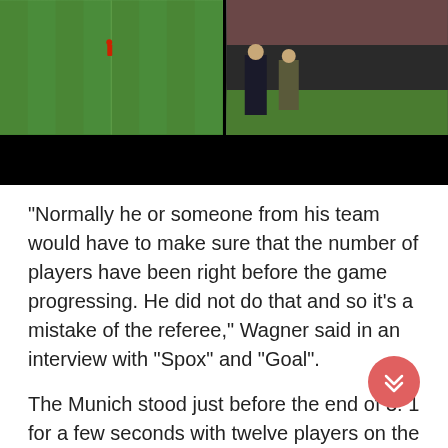[Figure (photo): Two-panel composite screenshot from a football/soccer broadcast. Left panel shows a green football pitch with a lone player visible in red kit. Right panel shows two figures standing on the sideline with a crowd in the background. Below both panels is a black bar (lower third of the image area).]
“Normally he or someone from his team would have to make sure that the number of players have been right before the game progressing. He did not do that and so it’s a mistake of the referee,” Wagner said in an interview with “Spox” and “Goal”.
The Munich stood just before the end of 3: 1 for a few seconds with twelve players on the square. Dingert could